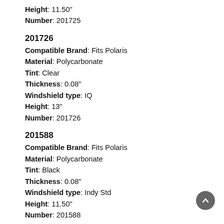Height: 11.50"
Number: 201725
201726
Compatible Brand: Fits Polaris
Material: Polycarbonate
Tint: Clear
Thickness: 0.08"
Windshield type: IQ
Height: 13"
Number: 201726
201588
Compatible Brand: Fits Polaris
Material: Polycarbonate
Tint: Black
Thickness: 0.08"
Windshield type: Indy Std
Height: 11.50"
Number: 201588